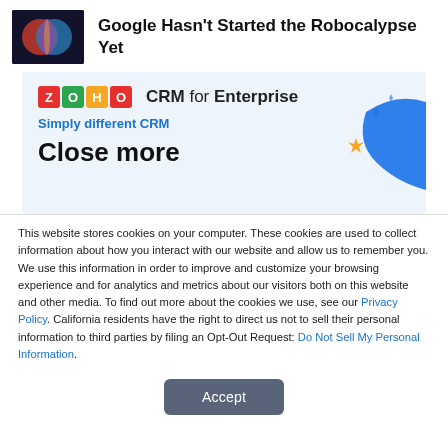Google Hasn't Started the Robocalypse Yet
[Figure (illustration): Zoho CRM for Enterprise advertisement banner with logo, tagline 'Simply different CRM', headline 'Close more', decorative star shapes and blue wave graphic]
This website stores cookies on your computer. These cookies are used to collect information about how you interact with our website and allow us to remember you. We use this information in order to improve and customize your browsing experience and for analytics and metrics about our visitors both on this website and other media. To find out more about the cookies we use, see our Privacy Policy. California residents have the right to direct us not to sell their personal information to third parties by filing an Opt-Out Request: Do Not Sell My Personal Info.